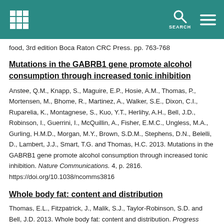SEARCH
food, 3rd edition Boca Raton CRC Press. pp. 763-768
Mutations in the GABRB1 gene promote alcohol consumption through increased tonic inhibition
Anstee, Q.M., Knapp, S., Maguire, E.P., Hosie, A.M., Thomas, P., Mortensen, M., Bhome, R., Martinez, A., Walker, S.E., Dixon, C.I., Ruparelia, K., Montagnese, S., Kuo, Y.T., Herlihy, A.H., Bell, J.D., Robinson, I., Guerrini, I., McQuillin, A., Fisher, E.M.C., Ungless, M.A., Gurling, H.M.D., Morgan, M.Y., Brown, S.D.M., Stephens, D.N., Belelli, D., Lambert, J.J., Smart, T.G. and Thomas, H.C. 2013. Mutations in the GABRB1 gene promote alcohol consumption through increased tonic inhibition. Nature Communications. 4, p. 2816. https://doi.org/10.1038/ncomms3816
Whole body fat: content and distribution
Thomas, E.L., Fitzpatrick, J., Malik, S.J., Taylor-Robinson, S.D. and Bell, J.D. 2013. Whole body fat: content and distribution. Progress